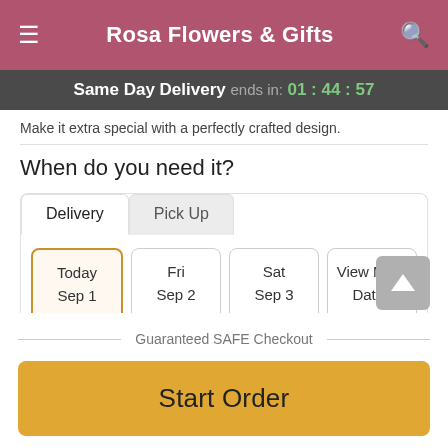Rosa Flowers & Gifts
Same Day Delivery ends in: 01:44:57
Make it extra special with a perfectly crafted design.
When do you need it?
Delivery | Pick Up
Today Sep 1 | Fri Sep 2 | Sat Sep 3 | View More Dates
Guaranteed SAFE Checkout
Start Order